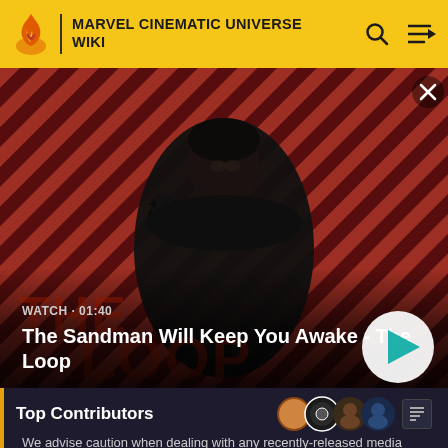MARVEL CINEMATIC UNIVERSE WIKI
[Figure (screenshot): Video thumbnail showing a dark-clad figure with a raven on shoulder against a diagonal red and black striped background, for 'The Sandman Will Keep You Awake - The Loop' video (01:40 duration) with a play button overlay]
WATCH · 01:40
The Sandman Will Keep You Awake - The Loop
Top Contributors
We advise caution when dealing with any recently-released media involving multiversal subjects. Please do not make assumptions regarding confusing wording, other sites' speculation, and people's headcanon around the internet.